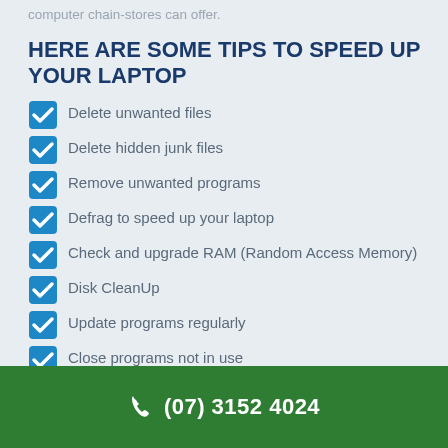computer chain-stores can offer.
HERE ARE SOME TIPS TO SPEED UP YOUR LAPTOP
Delete unwanted files
Delete hidden junk files
Remove unwanted programs
Defrag to speed up your laptop
Check and upgrade RAM (Random Access Memory)
Disk CleanUp
Update programs regularly
Close programs not in use
Call a technician for help
Maybe it is time for a new laptop
(07) 3152 4024